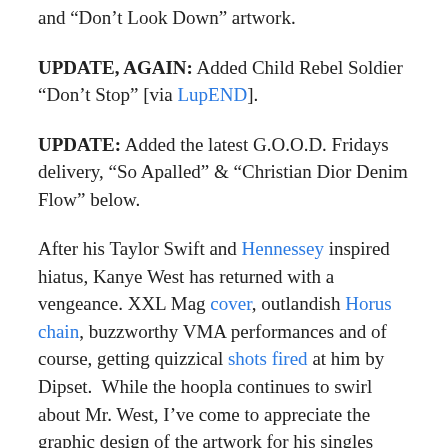and “Don’t Look Down” artwork.
UPDATE, AGAIN: Added Child Rebel Soldier “Don’t Stop” [via LupEND].
UPDATE: Added the latest G.O.O.D. Fridays delivery, “So Apalled” & “Christian Dior Denim Flow” below.
After his Taylor Swift and Hennessey inspired hiatus, Kanye West has returned with a vengeance. XXL Mag cover, outlandish Horus chain, buzzworthy VMA performances and of course, getting quizzical shots fired at him by Dipset.  While the hoopla continues to swirl about Mr. West, I’ve come to appreciate the graphic design of the artwork for his singles (black background with the occasional watermark and bold red lettering). Check your Twitter feed and you’ll see many avatars either swiping them or using them as inspiration. And of course